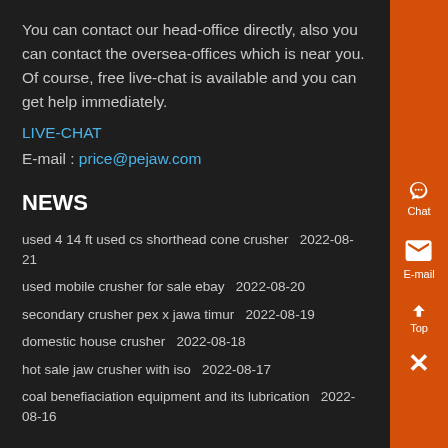You can contact our head-office directly, also you can contact the oversea-offices which is near you. Of course, free live-chat is available and you can get help immediately.
LIVE-CHAT
E-mail : price@pejaw.com
NEWS
used 4 14 ft used cs shorthead cone crusher  2022-08-21
used mobile crusher for sale ebay  2022-08-20
secondary crusher pex x jawa timur  2022-08-19
domestic house crusher  2022-08-18
hot sale jaw crusher with iso  2022-08-17
coal benefiaciation equipment and its lubrication  2022-08-16